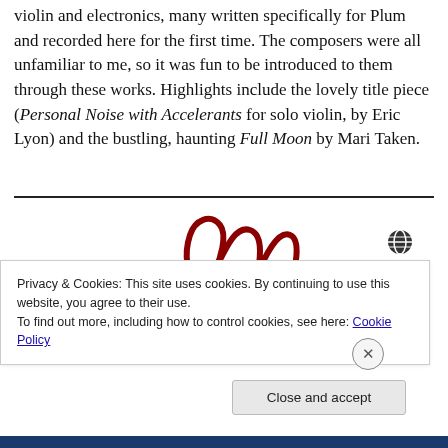violin and electronics, many written specifically for Plum and recorded here for the first time. The composers were all unfamiliar to me, so it was fun to be introduced to them through these works. Highlights include the lovely title piece (Personal Noise with Accelerants for solo violin, by Eric Lyon) and the bustling, haunting Full Moon by Mari Taken.
[Figure (logo): Decorative cursive/script logo in dark red/maroon with a small globe icon and a plus sign, partially visible]
Privacy & Cookies: This site uses cookies. By continuing to use this website, you agree to their use.
To find out more, including how to control cookies, see here: Cookie Policy
Close and accept